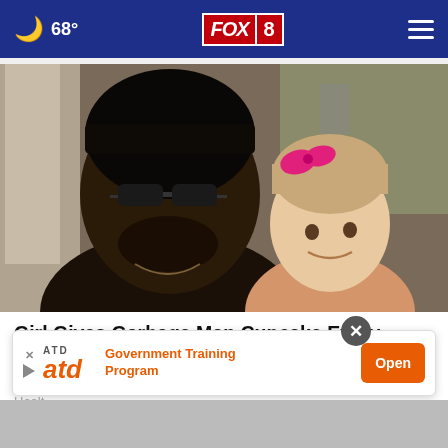68° FOX 8
[Figure (photo): A smiling man wearing sunglasses and a black cap posing cheek-to-cheek with a young girl who has a pink bow in her hair. Both are smiling. Likely taken outdoors near a light-colored wall.]
Girl Gives Garbage Man Cupcake Every Week Until
Dad Follows Him and Sees Why
Healt
[Figure (screenshot): Advertisement overlay: ATD Government Training Program with an orange 'Open' button. Shows ATD logo in orange italic text with 'ATD' label above. Has X and play icons on the left and a close (X) button circle above.]